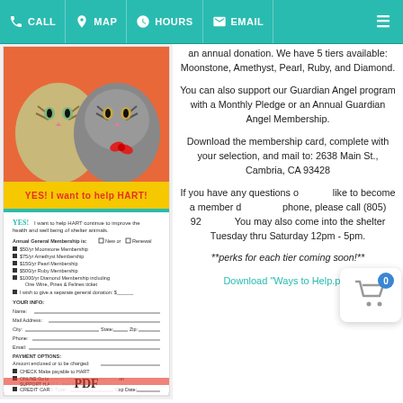CALL  MAP  HOURS  EMAIL
[Figure (photo): HART membership card PDF with two kittens photo at top and donation form below, labeled 'YES! I want to help HART']
an annual donation. We have 5 tiers available: Moonstone, Amethyst, Pearl, Ruby, and Diamond.
You can also support our Guardian Angel program with a Monthly Pledge or an Annual Guardian Angel Membership.
Download the membership card, complete with your selection, and mail to: 2638 Main St., Cambria, CA 93428
If you have any questions or would like to become a member over the phone, please call (805) 92... You may also come into the shelter Tuesday thru Saturday 12pm - 5pm.
**perks for each tier coming soon!**
Download "Ways to Help.pdf"